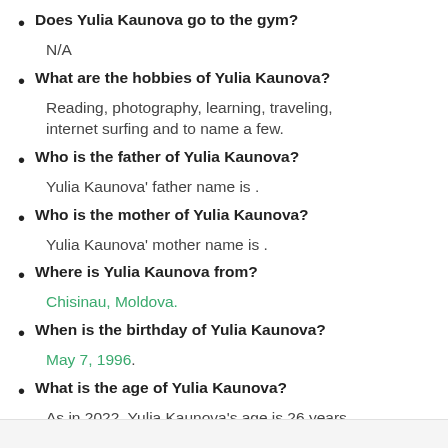Does Yulia Kaunova go to the gym?
N/A
What are the hobbies of Yulia Kaunova?
Reading, photography, learning, traveling, internet surfing and to name a few.
Who is the father of Yulia Kaunova?
Yulia Kaunova' father name is .
Who is the mother of Yulia Kaunova?
Yulia Kaunova' mother name is .
Where is Yulia Kaunova from?
Chisinau, Moldova.
When is the birthday of Yulia Kaunova?
May 7, 1996.
What is the age of Yulia Kaunova?
As in 2022, Yulia Kaunova's age is 26 years.